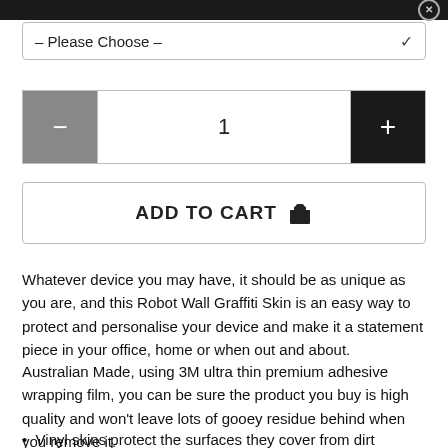×
– Please Choose –
1
ADD TO CART 🛒
Whatever device you may have, it should be as unique as you are, and this Robot Wall Graffiti Skin is an easy way to protect and personalise your device and make it a statement piece in your office, home or when out and about.
Australian Made, using 3M ultra thin premium adhesive wrapping film, you can be sure the product you buy is high quality and won't leave lots of gooey residue behind when you remove it.
Vinyl skins protect the surfaces they cover from dirt